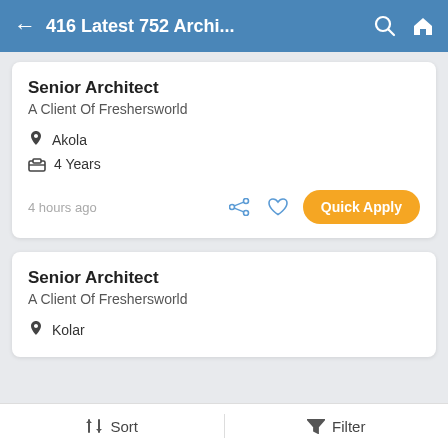416 Latest 752 Archi...
Senior Architect
A Client Of Freshersworld
Akola
4 Years
4 hours ago
Senior Architect
A Client Of Freshersworld
Kolar
Sort   Filter